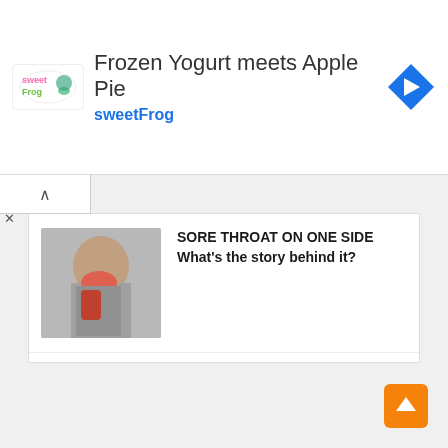[Figure (screenshot): sweetFrog advertisement banner — Frozen Yogurt meets Apple Pie]
[Figure (photo): Woman holding throat — sore throat illustration]
SORE THROAT ON ONE SIDE What's the story behind it?
[Figure (photo): Woman stretching after workout]
After every workout, there are six things you should do.